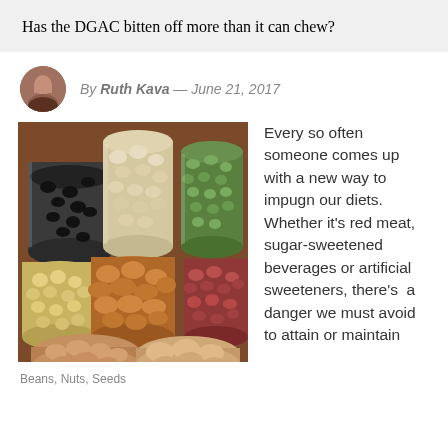Has the DGAC bitten off more than it can chew?
By Ruth Kava — June 21, 2017
[Figure (photo): Six glass jars and two open bowls filled with various beans, nuts, and seeds including black beans, white beans, green mung beans, soybeans, almonds, red beans, peanuts, and almonds.]
Beans, Nuts, Seeds
Every so often someone comes up with a new way to impugn our diets. Whether it's red meat, sugar-sweetened beverages or artificial sweeteners, there's a danger we must avoid to attain or maintain